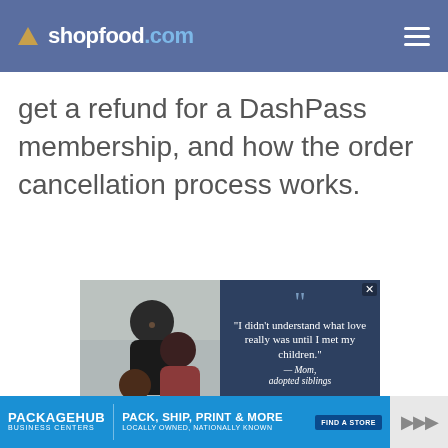shopfood.com
get a refund for a DashPass membership, and how the order cancellation process works.
[Figure (photo): Advertisement image: left side shows a family photo (man, woman, and child smiling together); right side has a dark blue background with a large quotation mark and text reading: "I didn't understand what love really was until I met my children." — Mom, adopted siblings]
[Figure (photo): Bottom banner advertisement for PackageHub Business Centers: PACK, SHIP, PRINT & MORE — LOCALLY OWNED, NATIONALLY KNOWN — FIND A STORE button]